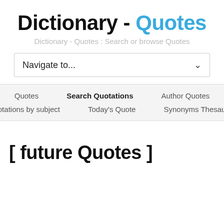Dictionary - Quotes
Dictionary - Quotes : Search or browse Quotes
Navigate to...
Quotes   Search Quotations   Author Quotes   Quotations by subject   Today's Quote   Synonyms Thesaurus
[ future Quotes ]